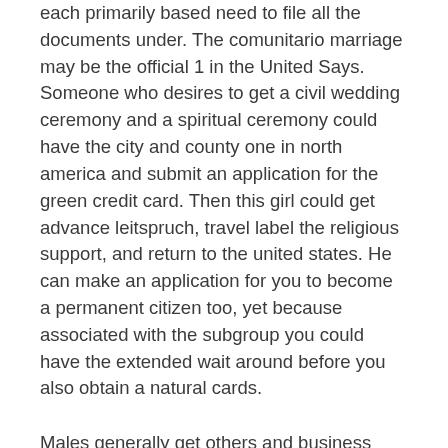each primarily based need to file all the documents under. The comunitario marriage may be the official 1 in the United Says. Someone who desires to get a civil wedding ceremony and a spiritual ceremony could have the city and county one in north america and submit an application for the green credit card. Then this girl could get advance leitspruch, travel label the religious support, and return to the united states. He can make an application for you to become a permanent citizen too, yet because associated with the subgroup you could have the extended wait around before you also obtain a natural cards.
Males generally get others and business contacts that belongs to them spouse study. A quick Google search of “Vietnamese email purchase wedding birdes-to-be sites” may well show lots of Vietnam online dating sites to pick from. Even though you can easily register after multiple sites, it’ll be even more rewarding in order to stick to a single. Much like Thailänder mail pay